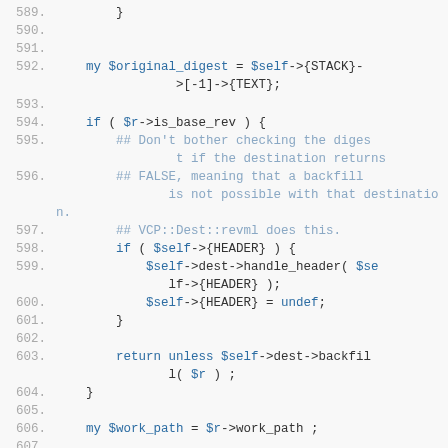Perl source code lines 589-608 showing backfill logic with digest checking, header handling, and work path assignment.